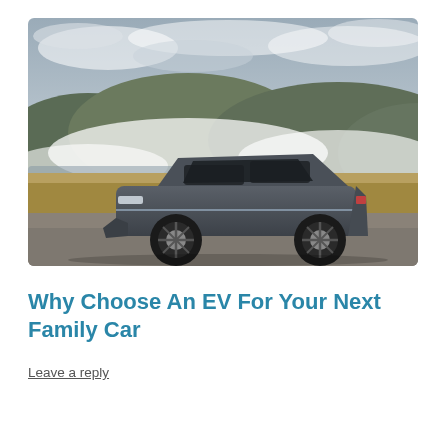[Figure (photo): A dark grey Hyundai Ioniq 5 electric vehicle parked on a gravel road in front of a misty hillside landscape with dry grass and cloudy sky.]
Why Choose An EV For Your Next Family Car
Leave a reply